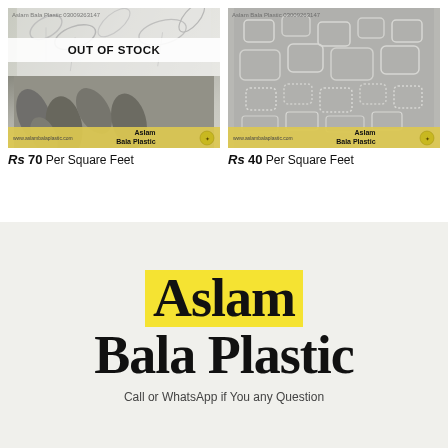[Figure (photo): Frosted window film with leaf pattern, showing OUT OF STOCK overlay. Watermark: Aslam Bala Plastic 03009263147. Bottom strip: www.aslambalaplastic.com | Aslam Bala Plastic]
Rs 70 Per Square Feet
[Figure (photo): Frosted window film with geometric squares pattern. Watermark: Aslam Bala Plastic 03009263147. Bottom strip: www.aslambalaplastic.com | Aslam Bala Plastic]
Rs 40 Per Square Feet
Aslam Bala Plastic
Call or WhatsApp if You any Question